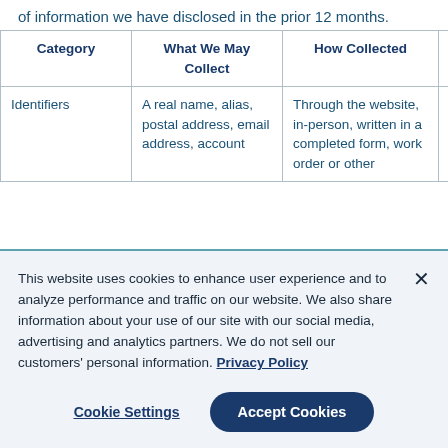of information we have disclosed in the prior 12 months.
| Category | What We May Collect | How Collected | Reason for Collection |
| --- | --- | --- | --- |
| Identifiers | A real name, alias, postal address, email address, account | Through the website, in-person, written in a completed form, work order or other | To provide and/or maintain service or product to or complete transaction |
This website uses cookies to enhance user experience and to analyze performance and traffic on our website. We also share information about your use of our site with our social media, advertising and analytics partners. We do not sell our customers' personal information. Privacy Policy
Cookie Settings  Accept Cookies